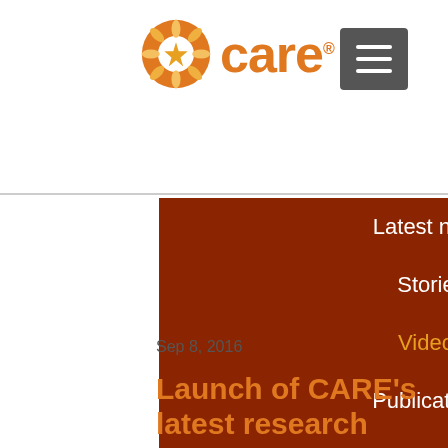[Figure (logo): CARE organization logo with orange circular icon and orange 'care' text with registered trademark symbol]
Latest news
Stories
Videos
Publications
Research
Sep 8, 2016
Launch of CARE's latest research puts